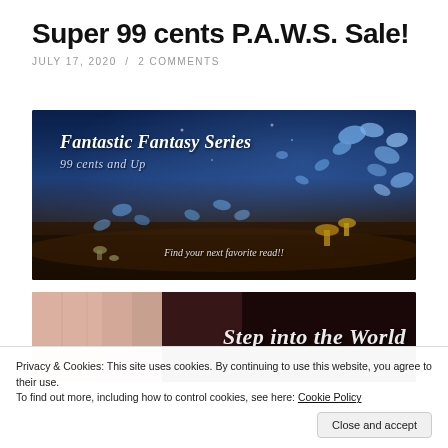Super 99 cents P.A.W.S. Sale!
JULY 17, 2020 / 2 COMMENTS
[Figure (photo): Fantasy banner image with blue butterflies, mushrooms, and dark forest floor. Text overlay: 'Fantastic Fantasy Series — 99 cents and Up — Find your next favorite read!!']
[Figure (photo): Dark banner image partially visible, with a hand on left and text 'Step into the World' on right.]
Privacy & Cookies: This site uses cookies. By continuing to use this website, you agree to their use.
To find out more, including how to control cookies, see here: Cookie Policy